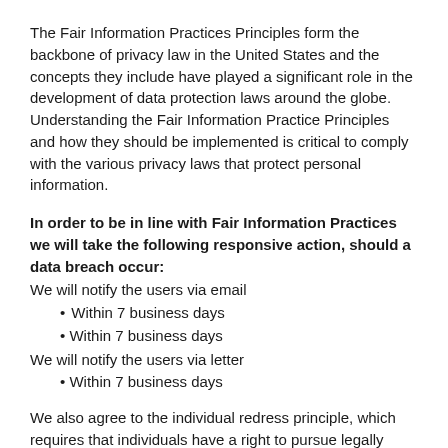The Fair Information Practices Principles form the backbone of privacy law in the United States and the concepts they include have played a significant role in the development of data protection laws around the globe. Understanding the Fair Information Practice Principles and how they should be implemented is critical to comply with the various privacy laws that protect personal information.
In order to be in line with Fair Information Practices we will take the following responsive action, should a data breach occur:
We will notify the users via email
Within 7 business days
Within 7 business days
We will notify the users via letter
Within 7 business days
We also agree to the individual redress principle, which requires that individuals have a right to pursue legally enforceable rights against data collectors and processors who fail to adhere to the law. This principle requires not only that individuals have enforceable rights against data collectors, but that individuals have...